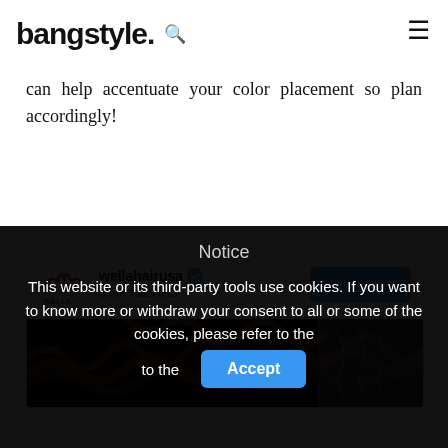bangstyle. [search icon] [hamburger menu]
can help accentuate your color placement so plan accordingly!
[Figure (screenshot): Instagram-style widget showing wellahairusa profile with 599K followers, a 'View profile' blue button, and a hair image strip below]
Notice

This website or its third-party tools use cookies. If you want to know more or withdraw your consent to all or some of the cookies, please refer to the [Accept button]